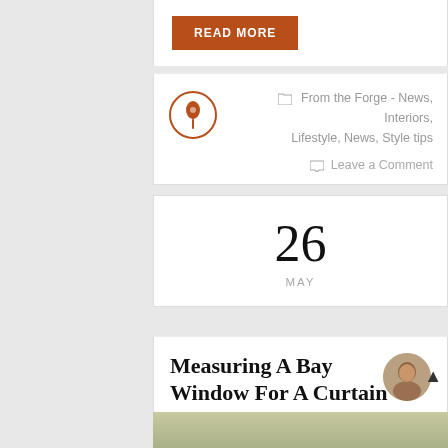READ MORE
From the Forge - News, Interiors, Lifestyle, News, Style tips
Leave a Comment
26
MAY
Measuring A Bay Window For A Curtain Pole
Written by Juliet Fishenden